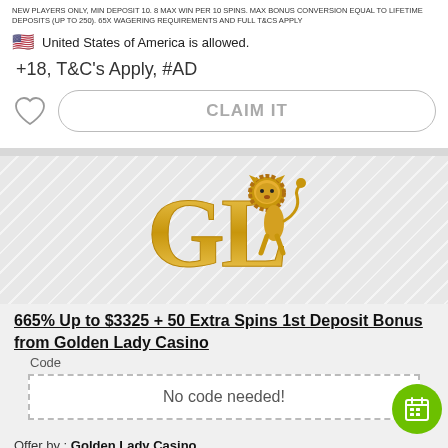NEW PLAYERS ONLY, MIN DEPOSIT 10. 8 MAX WIN PER 10 SPINS. MAX BONUS CONVERSION EQUAL TO LIFETIME DEPOSITS (UP TO 250). 65X WAGERING REQUIREMENTS AND FULL T&CS APPLY
🇺🇸 United States of America is allowed.
+18, T&C's Apply, #AD
CLAIM IT
[Figure (logo): Golden Lady Casino GL logo in gold color with lion figure]
665% Up to $3325 + 50 Extra Spins 1st Deposit Bonus from Golden Lady Casino
Code
No code needed!
Offer by : Golden Lady Casino
🇺🇸 United States of America is allowed.